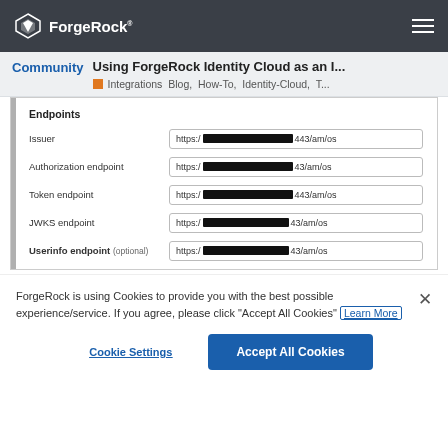ForgeRock
Using ForgeRock Identity Cloud as an I...
Community · Integrations Blog, How-To, Identity-Cloud, T...
Endpoints
Issuer  https://[redacted]443/am/os
Authorization endpoint  https://[redacted]43/am/os
Token endpoint  https://[redacted]443/am/os
JWKS endpoint  https://[redacted]43/am/os
Userinfo endpoint (optional)  https://[redacted]43/am/os
ForgeRock is using Cookies to provide you with the best possible experience/service. If you agree, please click "Accept All Cookies" Learn More
Cookie Settings  Accept All Cookies